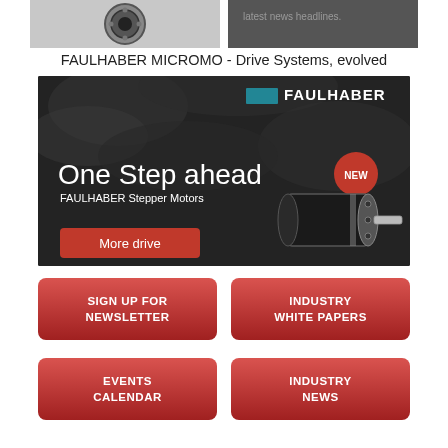[Figure (photo): Top left: circular motor/encoder component on grey background]
[Figure (photo): Top right: dark grey banner with text 'latest news headlines']
FAULHABER MICROMO - Drive Systems, evolved
[Figure (illustration): FAULHABER advertisement banner: dark rocky background, FAULHABER logo with teal icon, headline 'One Step ahead', subheading 'FAULHABER Stepper Motors', red NEW badge, stepper motor product image, red 'More drive' button]
SIGN UP FOR NEWSLETTER
INDUSTRY WHITE PAPERS
EVENTS CALENDAR
INDUSTRY NEWS